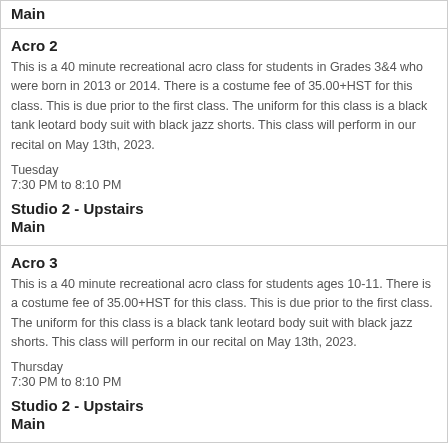Main
Acro 2
This is a 40 minute recreational acro class for students in Grades 3&4 who were born in 2013 or 2014. There is a costume fee of 35.00+HST for this class. This is due prior to the first class. The uniform for this class is a black tank leotard body suit with black jazz shorts. This class will perform in our recital on May 13th, 2023.
Tuesday
7:30 PM to 8:10 PM
Studio 2 - Upstairs
Main
Acro 3
This is a 40 minute recreational acro class for students ages 10-11. There is a costume fee of 35.00+HST for this class. This is due prior to the first class. The uniform for this class is a black tank leotard body suit with black jazz shorts. This class will perform in our recital on May 13th, 2023.
Thursday
7:30 PM to 8:10 PM
Studio 2 - Upstairs
Main